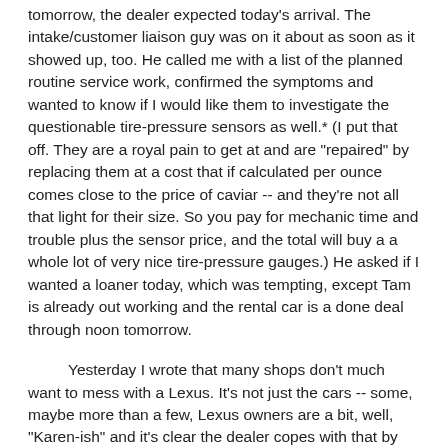tomorrow, the dealer expected today's arrival.  The intake/customer liaison guy was on it about as soon as it showed up, too.  He called me with a list of the planned routine service work, confirmed the symptoms and wanted to know if I would like them to investigate the questionable tire-pressure sensors as well.*  (I put that off.  They are a royal pain to get at and are "repaired" by replacing them at a cost that if calculated per ounce comes close to the price of caviar -- and they're not all that light for their size.  So you pay for mechanic time and trouble plus the sensor price, and the total will buy a a whole lot of very nice tire-pressure gauges.)  He asked if I wanted a loaner today, which was tempting, except Tam is already out working and the rental car is a done deal through noon tomorrow.
Yesterday I wrote that many shops don't much want to mess with a Lexus.  It's not just the cars -- some, maybe more than a few, Lexus owners are a bit, well, "Karen-ish" and it's clear the dealer copes with that by averting complaints before they occur.  Not the cheapest place to get my car worked on, but it does come with some extras.